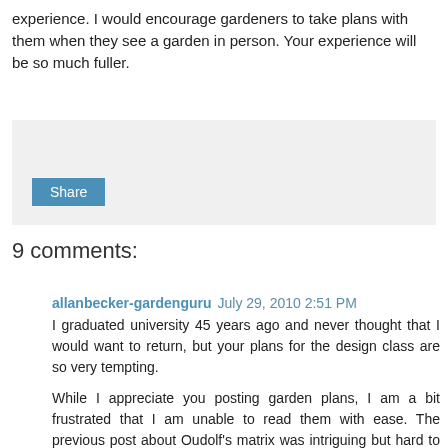experience. I would encourage gardeners to take plans with them when they see a garden in person. Your experience will be so much fuller.
[Figure (other): Gray sharing/social box with a Share button]
9 comments:
allanbecker-gardenguru July 29, 2010 2:51 PM
I graduated university 45 years ago and never thought that I would want to return, but your plans for the design class are so very tempting.

While I appreciate you posting garden plans, I am a bit frustrated that I am unable to read them with ease. The previous post about Oudolf's matrix was intriguing but hard to discern.
Today's diagrams are equally fascinating but also hard to